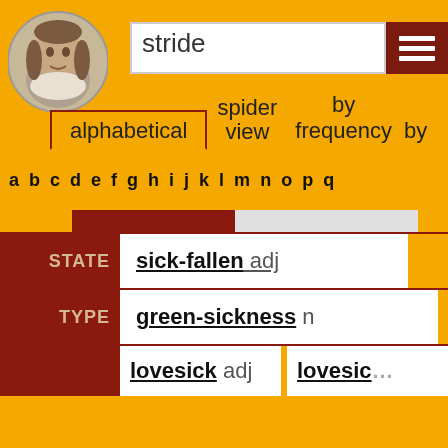[Figure (screenshot): Shakespeare portrait circular icon in header]
stride
alphabetical   spider view   by frequency   by
a b c d e f g h i j k l m n o p q
|  |  |
| --- | --- |
| STATE | sick-fallen adj |
| TYPE | green-sickness n |
|  | lovesick adj   lovesic... |